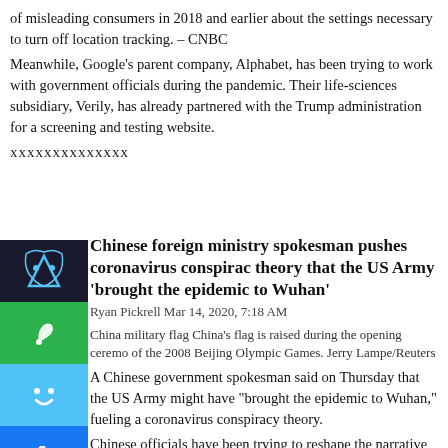of misleading consumers in 2018 and earlier about the settings necessary to turn off location tracking. – CNBC
Meanwhile, Google's parent company, Alphabet, has been trying to work with government officials during the pandemic. Their life-sciences subsidiary, Verily, has already partnered with the Trump administration for a screening and testing website.
xxxxxxxxxxxxxx
Chinese foreign ministry spokesman pushes coronavirus conspiracy theory that the US Army 'brought the epidemic to Wuhan'
Ryan Pickrell Mar 14, 2020, 7:18 AM
China military flag China's flag is raised during the opening ceremony of the 2008 Beijing Olympic Games. Jerry Lampe/Reuters
A Chinese government spokesman said on Thursday that the US Army might have "brought the epidemic to Wuhan," fueling a coronavirus conspiracy theory.
Chinese officials have been trying to reshape the narrative about the coronavirus, suggesting that it might have originated outside of China, even though the center of the outbreak was the central Chinese city of Wuhan.
Amid this push, a conspiracy theory that US athletes participating in the Military World Games in Wuhan last fall brought the coronavirus